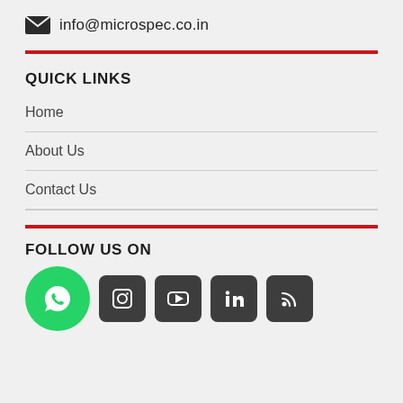info@microspec.co.in
QUICK LINKS
Home
About Us
Contact Us
FOLLOW US ON
[Figure (other): Social media icons: WhatsApp, Facebook, Instagram, YouTube, LinkedIn, RSS feed]